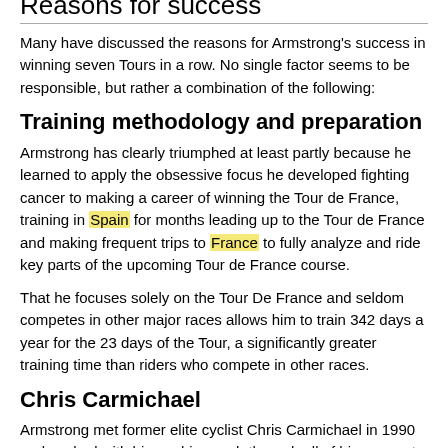an interesting time in medical research. That would be a serious rush for me if I could affect a change in time."
Reasons for success
Many have discussed the reasons for Armstrong's success in winning seven Tours in a row. No single factor seems to be responsible, but rather a combination of the following:
Training methodology and preparation
Armstrong has clearly triumphed at least partly because he learned to apply the obsessive focus he developed fighting cancer to making a career of winning the Tour de France, training in Spain for months leading up to the Tour de France and making frequent trips to France to fully analyze and ride key parts of the upcoming Tour de France course.
That he focuses solely on the Tour De France and seldom competes in other major races allows him to train 342 days a year for the 23 days of the Tour, a significantly greater training time than riders who compete in other races.
Chris Carmichael
Armstrong met former elite cyclist Chris Carmichael in 1990 and worked with him as his coach through all of his years at the Tour De France.